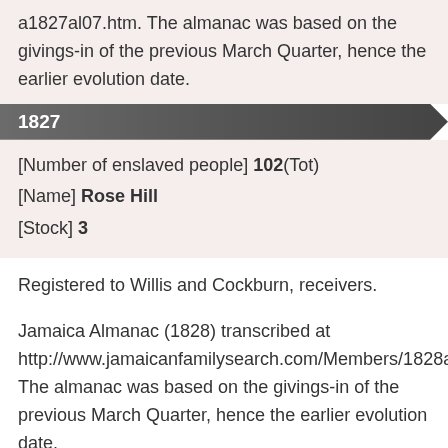a1827al07.htm. The almanac was based on the givings-in of the previous March Quarter, hence the earlier evolution date.
1827
[Number of enslaved people] 102(Tot)
[Name] Rose Hill
[Stock] 3
Registered to Willis and Cockburn, receivers.
Jamaica Almanac (1828) transcribed at http://www.jamaicanfamilysearch.com/Members/1828al10.htm. The almanac was based on the givings-in of the previous March Quarter, hence the earlier evolution date.
1828
[Number of enslaved people] 98(Tot)
[Name] Rose Hill